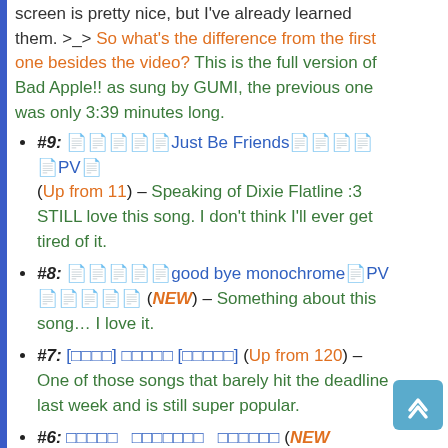screen is pretty nice, but I've already learned them. >_> So what's the difference from the first one besides the video? This is the full version of Bad Apple!! as sung by GUMI, the previous one was only 3:39 minutes long.
#9: [Japanese]Just Be Friends[Japanese]PV[Japanese] (Up from 11) – Speaking of Dixie Flatline :3 STILL love this song. I don't think I'll ever get tired of it.
#8: [Japanese]good bye monochrome[Japanese]PV[Japanese] (NEW) – Something about this song… I love it.
#7: [Japanese] [Japanese] [Japanese] (Up from 120) – One of those songs that barely hit the deadline last week and is still super popular.
#6: [Japanese] [Japanese] [Japanese] (NEW)